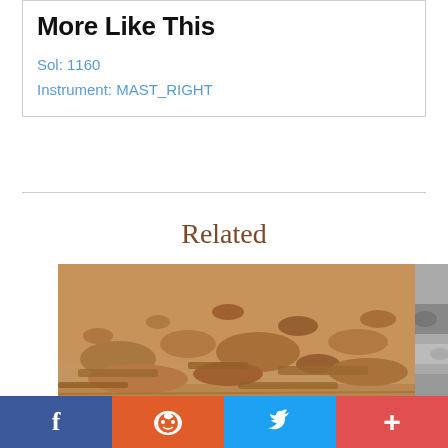More Like This
Sol: 1160
Instrument: MAST_RIGHT
Related
[Figure (photo): Mars surface photo showing reddish-brown rocky terrain with scattered flat stones and sedimentary rock formations, taken by Curiosity rover MAST_RIGHT camera.]
[Figure (photo): Partial view of a black and white Mars surface photo at the right edge of the page.]
f  reddit  twitter  +